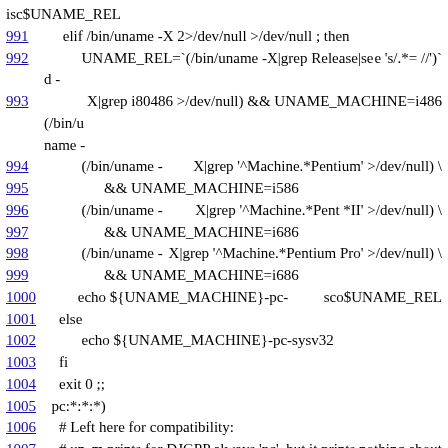isc$UNAME_REL
991    elif /bin/uname -X 2>/dev/null >/dev/null ; then
992          UNAME_REL=`(/bin/uname -X|grep Release|sed -e 's/.*= //')`
993          (/bin/uname -X|grep i80486 >/dev/null) && UNAME_MACHINE=i486
994          (/bin/uname -X|grep '^Machine.*Pentium' >/dev/null) \
995                && UNAME_MACHINE=i586
996          (/bin/uname -X|grep '^Machine.*Pent *II' >/dev/null) \
997                && UNAME_MACHINE=i686
998          (/bin/uname -X|grep '^Machine.*Pentium Pro' >/dev/null) \
999                && UNAME_MACHINE=i686
1000         echo ${UNAME_MACHINE}-pc-sco$UNAME_REL
1001    else
1002          echo ${UNAME_MACHINE}-pc-sysv32
1003    fi
1004    exit 0 ;;
1005  pc:*:*:*)
1006    # Left here for compatibility:
1007    # uname -m prints for DJGPP always 'pc', but it prints nothing about